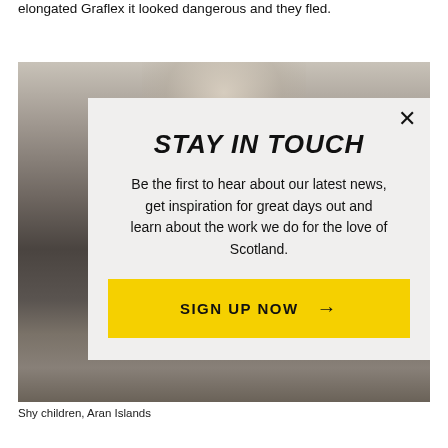elongated Graflex it looked dangerous and they fled.
[Figure (photo): Black and white photograph of shy children on Aran Islands, grainy vintage image]
Shy children, Aran Islands
STAY IN TOUCH
Be the first to hear about our latest news, get inspiration for great days out and learn about the work we do for the love of Scotland.
SIGN UP NOW →